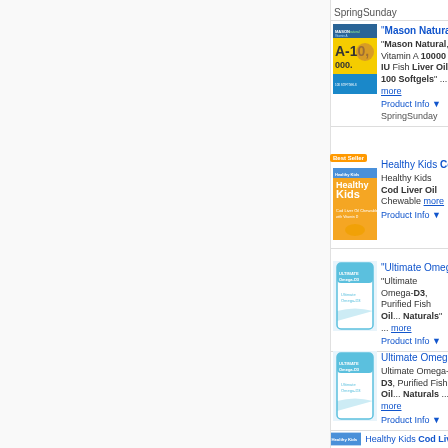[Figure (photo): Top partial item with red jar product image, left panel border visible]
SpringSunday
[Figure (photo): Mason Natural Vitamin A 10,000 IU A-10,000 product box with eye image, yellow and blue packaging, 100 softgels]
"Mason Natural, Vitamin A 10... "Mason Natural, Vitamin A 10000 IU Fish Liver Oil, 100 Softgels" ... more Product Info ▼ SpringSunday
[Figure (photo): Healthy Kids Cod Liver Oil chewable supplement bottle with Best Seller badge, orange label with kids illustration]
Healthy Kids Cod Liver Oil Ch... Healthy Kids Cod Liver Oil Chewable... more Product Info ▼
[Figure (photo): Ultimate Omega-D3 Purified Fish Oil supplement bottle, white and teal label]
"Ultimate Omega-D3, Purified F... "Ultimate Omega-D3, Purified Fish Oil... Naturals" ... more Product Info ▼
[Figure (photo): Ultimate Omega-D3 Purified Fish Oil supplement bottle, second listing, white and teal label]
Ultimate Omega-D3, Purified F... Ultimate Omega-D3, Purified Fish Oil... Naturals ... more Product Info ▼
[Figure (photo): Healthy Kids Cod Liver Oil partial image at bottom]